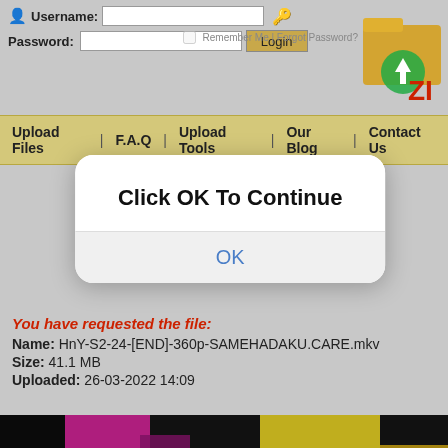[Figure (screenshot): Login form with Username and Password fields, Login button, Remember Me checkbox, and a file-sharing site logo folder icon in the top right]
Upload Files | F.A.Q | Upload Tools | Our Blog | Contact Us
[Figure (screenshot): Dialog box overlay with bold text 'Click OK To Continue' and a blue 'OK' link button]
You have requested the file:
Name: HnY-S2-24-[END]-360p-SAMEHADAKU.CARE.mkv
Size: 41.1 MB
Uploaded: 26-03-2022 14:09
[Figure (photo): Colorful thumbnail image with dark, pink, and yellow areas visible at the bottom of the page]